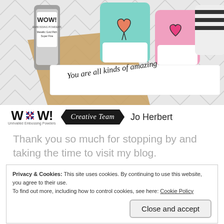[Figure (photo): Craft/card making photo showing decorated coffee cups with hearts, chevron patterned background, cursive text reading 'You are all kinds of amazing', and a WOW! embossing powder bottle]
[Figure (logo): WOW! Unrivalled Embossing Powders logo with UK flag circle, Creative Team badge, and name Jo Herbert]
Thank you so much for stopping by and taking the time to visit my blog.
Privacy & Cookies: This site uses cookies. By continuing to use this website, you agree to their use.
To find out more, including how to control cookies, see here: Cookie Policy
Close and accept